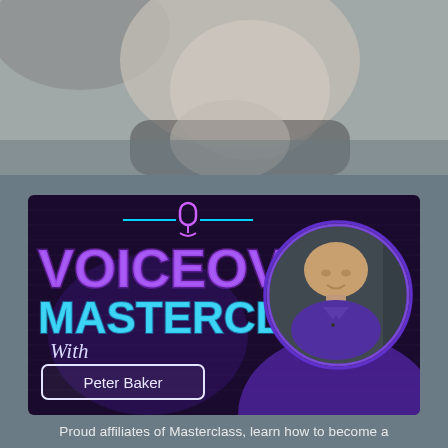[Figure (photo): Black and white close-up photo of a person's face/neck area, cropped at top of page]
[Figure (illustration): Voiceover Masterclass promotional thumbnail with purple neon VOICEOVER text, cyan MASTERCLASS text, microphone icon, 'With Peter Baker' in a white box, and a circular photo of Peter Baker (man in purple shirt) on dark purple background]
Proud affiliates of Masterclass, learn how to become a